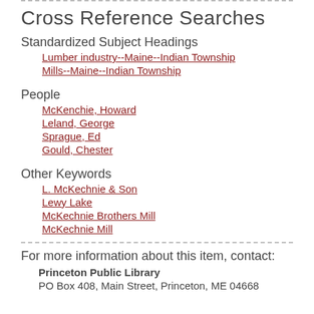Cross Reference Searches
Standardized Subject Headings
Lumber industry--Maine--Indian Township
Mills--Maine--Indian Township
People
McKenchie, Howard
Leland, George
Sprague, Ed
Gould, Chester
Other Keywords
L. McKechnie & Son
Lewy Lake
McKechnie Brothers Mill
McKechnie Mill
For more information about this item, contact:
Princeton Public Library
PO Box 408, Main Street, Princeton, ME 04668